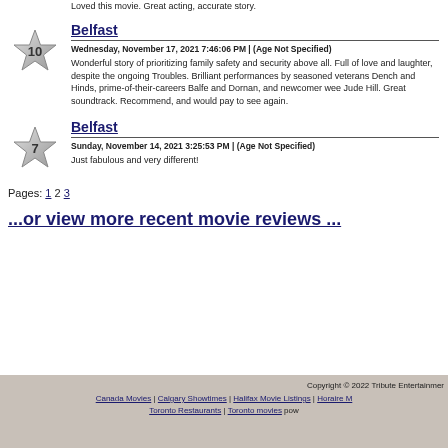Loved this movie. Great acting, accurate story.
Belfast
Wednesday, November 17, 2021 7:46:06 PM | (Age Not Specified)
Wonderful story of prioritizing family safety and security above all. Full of love and laughter, despite the ongoing Troubles. Brilliant performances by seasoned veterans Dench and Hinds, prime-of-their-careers Balfe and Dornan, and newcomer wee Jude Hill. Great soundtrack. Recommend, and would pay to see again.
Belfast
Sunday, November 14, 2021 3:25:53 PM | (Age Not Specified)
Just fabulous and very different!
Pages: 1 2 3
...or view more recent movie reviews ...
Copyright © 2022 Tribute Entertainment | Canada Movies | Calgary Showtimes | Halifax Movie Listings | Horaire M... | Toronto Restaurants | Toronto movies pow...